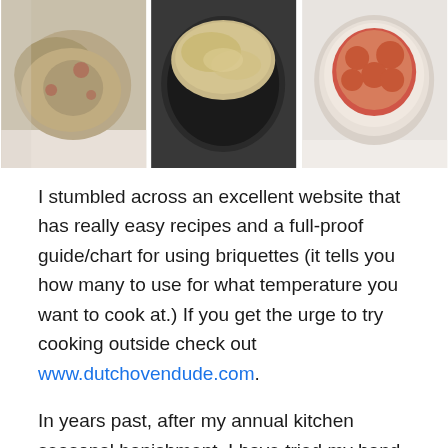[Figure (photo): Three food photos in a row: left shows cooked meat/food on a surface, middle shows a slow cooker/crock pot with food, right shows a bowl with pizza-like toppings including pepperoni]
I stumbled across an excellent website that has really easy recipes and a full-proof guide/chart for using briquettes (it tells you how many to use for what temperature you want to cook at.) If you get the urge to try cooking outside check out www.dutchovendude.com.
In years past, after my annual kitchen seasonal banishment, I have tried my hand at cooking on the grill – something I have not yet perfected, but it gets us through. I grill a mean honey ranch chicken breast and I have finally acquired a taste for bratwurst.
I have also made good use of the ever-famous slow-cooking crock pot. I've mastered several throw it in, turn it